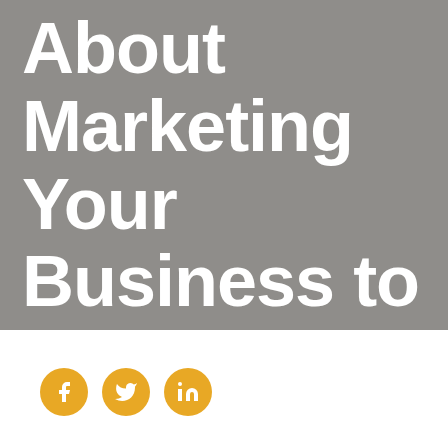About Marketing Your Business to Millennials
[Figure (illustration): Three social media icons: Facebook, Twitter, and LinkedIn, rendered as golden/yellow circular buttons with white symbols]